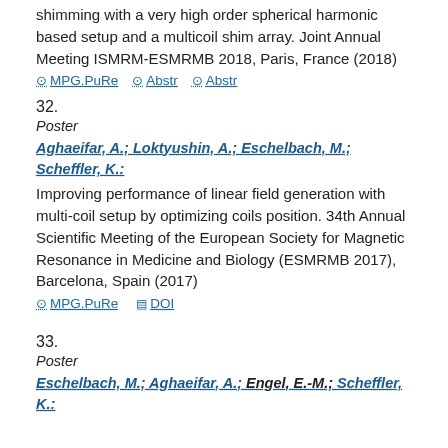shimming with a very high order spherical harmonic based setup and a multicoil shim array. Joint Annual Meeting ISMRM-ESMRMB 2018, Paris, France (2018)
MPG.PuRe   Abstr   Abstr
32.
Poster
Aghaeifar, A.; Loktyushin, A.; Eschelbach, M.; Scheffler, K.:
Improving performance of linear field generation with multi-coil setup by optimizing coils position. 34th Annual Scientific Meeting of the European Society for Magnetic Resonance in Medicine and Biology (ESMRMB 2017), Barcelona, Spain (2017)
MPG.PuRe   DOI
33.
Poster
Eschelbach, M.; Aghaeifar, A.; Engel, E.-M.; Scheffler, K.: